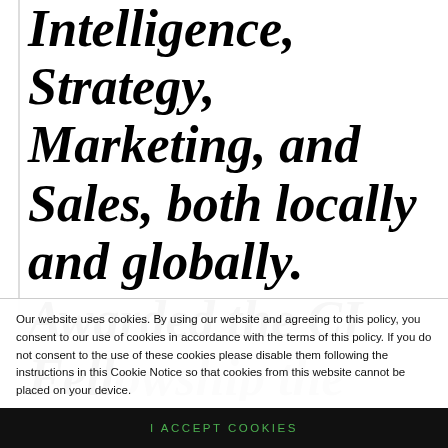Intelligence, Strategy, Marketing, and Sales, both locally and globally. Awarded the CI Fellowship the
Our website uses cookies. By using our website and agreeing to this policy, you consent to our use of cookies in accordance with the terms of this policy. If you do not consent to the use of these cookies please disable them following the instructions in this Cookie Notice so that cookies from this website cannot be placed on your device.
I ACCEPT COOKIES